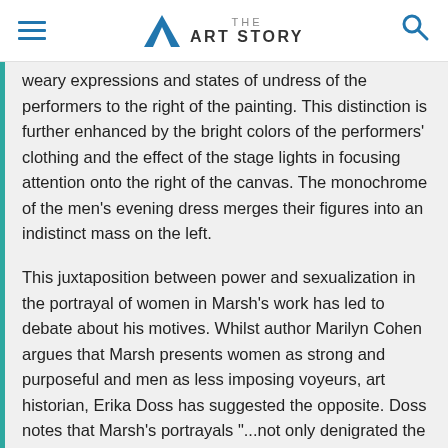THE ART STORY
weary expressions and states of undress of the performers to the right of the painting. This distinction is further enhanced by the bright colors of the performers' clothing and the effect of the stage lights in focusing attention onto the right of the canvas. The monochrome of the men's evening dress merges their figures into an indistinct mass on the left.
This juxtaposition between power and sexualization in the portrayal of women in Marsh's work has led to debate about his motives. Whilst author Marilyn Cohen argues that Marsh presents women as strong and purposeful and men as less imposing voyeurs, art historian, Erika Doss has suggested the opposite. Doss notes that Marsh's portrayals "...not only denigrated the lower-class women who worked in